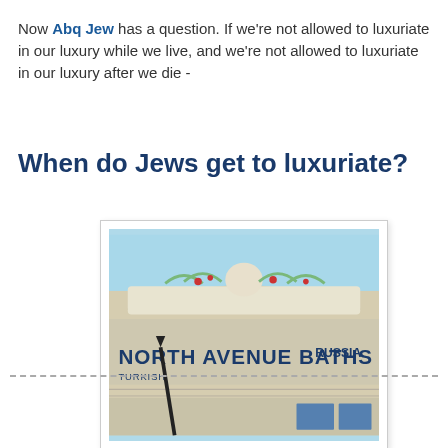Now Abq Jew has a question. If we're not allowed to luxuriate in our luxury while we live, and we're not allowed to luxuriate in our luxury after we die -
When do Jews get to luxuriate?
[Figure (photo): Photograph of the facade of North Avenue Baths building, showing ornate decorative tiles at the top and the text 'TURKISH NORTH AVENUE BATHS RUSSIAN' on the building exterior.]
Share